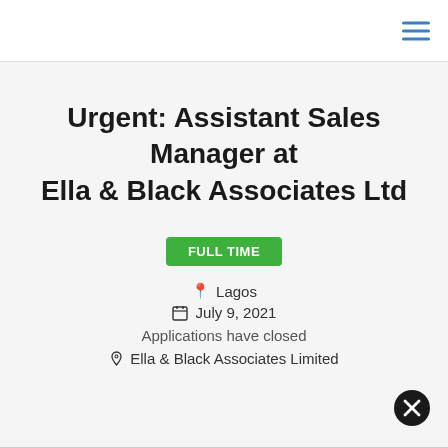Urgent: Assistant Sales Manager at Ella & Black Associates Ltd
FULL TIME
Lagos
July 9, 2021
Applications have closed
Ella & Black Associates Limited